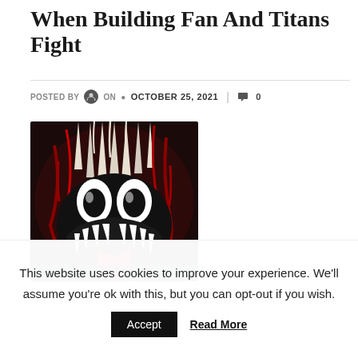When Building Fan And Titans Fight
POSTED BY  ON  OCTOBER 25, 2021  |  0
[Figure (illustration): Close-up illustration of Venom/Carnage symbiote character with sharp teeth, red and black coloring, dripping fangs, and menacing expression]
This website uses cookies to improve your experience. We'll assume you're ok with this, but you can opt-out if you wish.
Accept   Read More